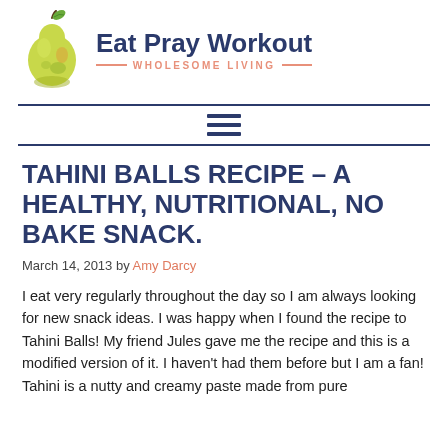[Figure (logo): Eat Pray Workout – Wholesome Living logo with a pear illustration and brand name]
[Figure (other): Hamburger menu icon (three horizontal lines)]
TAHINI BALLS RECIPE – A HEALTHY, NUTRITIONAL, NO BAKE SNACK.
March 14, 2013 by Amy Darcy
I eat very regularly throughout the day so I am always looking for new snack ideas. I was happy when I found the recipe to Tahini Balls! My friend Jules gave me the recipe and this is a modified version of it. I haven't had them before but I am a fan! Tahini is a nutty and creamy paste made from pure